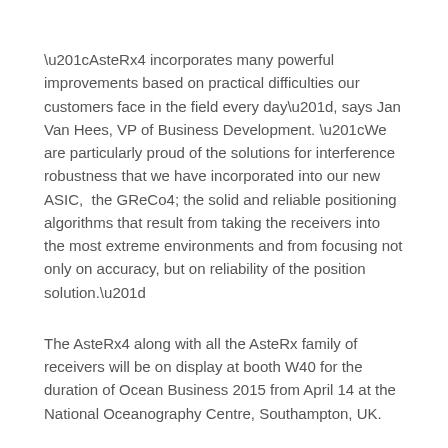“AsteRx4 incorporates many powerful improvements based on practical difficulties our customers face in the field every day”, says Jan Van Hees, VP of Business Development. “We are particularly proud of the solutions for interference robustness that we have incorporated into our new ASIC,  the GReCo4; the solid and reliable positioning algorithms that result from taking the receivers into the most extreme environments and from focusing not only on accuracy, but on reliability of the position solution.”
The AsteRx4 along with all the AsteRx family of receivers will be on display at booth W40 for the duration of Ocean Business 2015 from April 14 at the National Oceanography Centre, Southampton, UK.